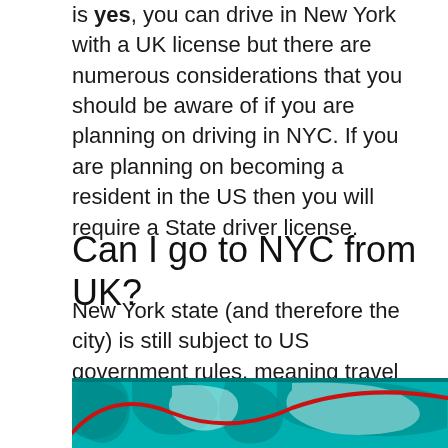is yes, you can drive in New York with a UK license but there are numerous considerations that you should be aware of if you are planning on driving in NYC. If you are planning on becoming a resident in the US then you will require a State driver license.
Can I go to NYC from UK?
New York state (and therefore the city) is still subject to US government rules, meaning travel from Brazil, China, the European Schengen Area, India, Iran, Ireland, South Africa and the United Kingdom is currently not permitted.
[Figure (map): World map graphic with teal landmasses on white/teal background with a red curved line overlay]